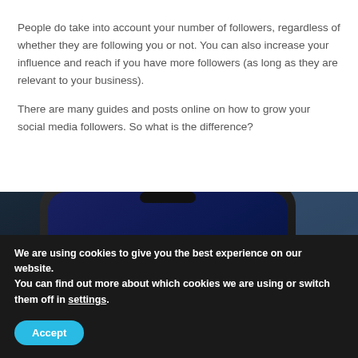People do take into account your number of followers, regardless of whether they are following you or not. You can also increase your influence and reach if you have more followers (as long as they are relevant to your business).
There are many guides and posts online on how to grow your social media followers. So what is the difference?
[Figure (photo): Close-up photo of a smartphone showing social media app icons including WhatsApp (green) and Instagram (red/orange), on a dark blue/black background]
We are using cookies to give you the best experience on our website.
You can find out more about which cookies we are using or switch them off in settings.